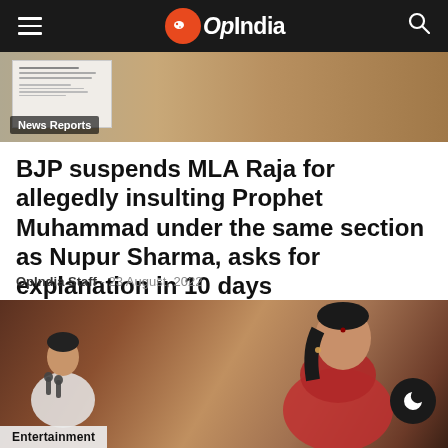OpIndia
[Figure (photo): Top image strip showing a document and a person in traditional clothing, with a 'News Reports' label overlay]
BJP suspends MLA Raja for allegedly insulting Prophet Muhammad under the same section as Nupur Sharma, asks for explanation in 10 days
OpIndia Staff - 23 August, 2022
[Figure (photo): Bottom photo showing two people - a man speaking at a podium on the left and a woman in a saree on the right, with an 'Entertainment' label at the bottom]